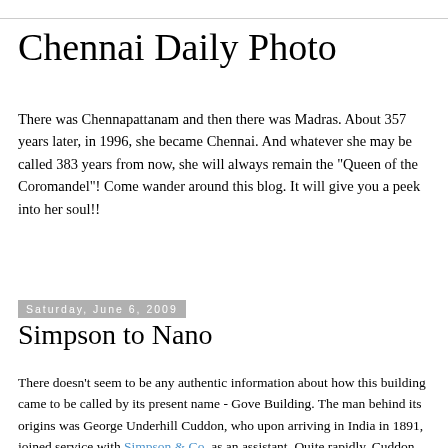Chennai Daily Photo
There was Chennapattanam and then there was Madras. About 357 years later, in 1996, she became Chennai. And whatever she may be called 383 years from now, she will always remain the "Queen of the Coromandel"! Come wander around this blog. It will give you a peek into her soul!!
Saturday, June 6, 2009
Simpson to Nano
There doesn't seem to be any authentic information about how this building came to be called by its present name - Gove Building. The man behind its origins was George Underhill Cuddon, who upon arriving in India in 1891, joined service with Simpson & Co. as an assistant. Quite rapidly, Cuddon grew to become the manager of the business and then on to partner, before becoming the sole proprietor. It was he who set out the plans for this building in 1914 and though he died before it was completed in 1916, his plans were more or less faithfully adhered to. A book about commerce in southern India, published